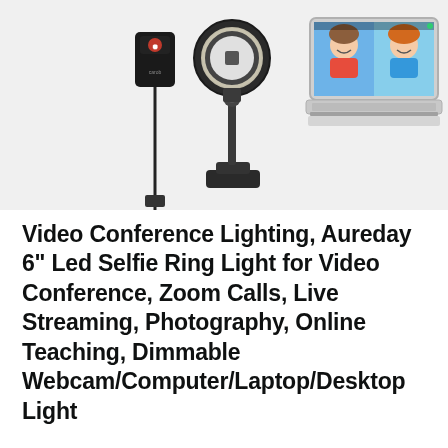[Figure (photo): Product photo showing a ring light with clip mount, a USB cable remote unit, and a laptop displaying a video call with two women smiling]
Video Conference Lighting, Aureday 6” Led Selfie Ring Light for Video Conference, Zoom Calls, Live Streaming, Photography, Online Teaching, Dimmable Webcam/Computer/Laptop/Desktop Light
$19.99  in stock
2 new from $19.99